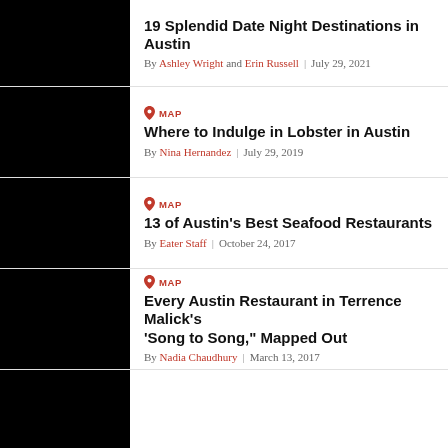19 Splendid Date Night Destinations in Austin — By Ashley Wright and Erin Russell | July 29, 2021
MAP — Where to Indulge in Lobster in Austin — By Nina Hernandez | July 29, 2019
MAP — 13 of Austin's Best Seafood Restaurants — By Eater Staff | October 24, 2017
MAP — Every Austin Restaurant in Terrence Malick's 'Song to Song," Mapped Out — By Nadia Chaudhury | March 13, 2017
(partial row at bottom)